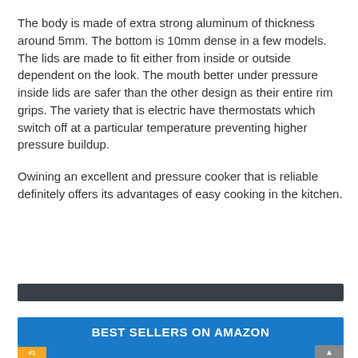The body is made of extra strong aluminum of thickness around 5mm. The bottom is 10mm dense in a few models. The lids are made to fit either from inside or outside dependent on the look. The mouth better under pressure inside lids are safer than the other design as their entire rim grips. The variety that is electric have thermostats which switch off at a particular temperature preventing higher pressure buildup.
Owining an excellent and pressure cooker that is reliable definitely offers its advantages of easy cooking in the kitchen.
BEST SELLERS ON AMAZON